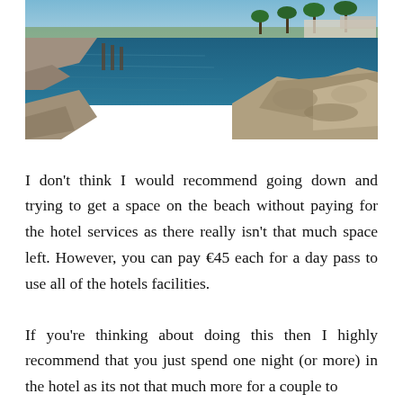[Figure (photo): Coastal scene showing rocky shoreline with calm blue Mediterranean sea water, rocky outcrops in the foreground, and palm trees and hotel buildings visible in the background under a clear sky.]
I don't think I would recommend going down and trying to get a space on the beach without paying for the hotel services as there really isn't that much space left. However, you can pay €45 each for a day pass to use all of the hotels facilities.
If you're thinking about doing this then I highly recommend that you just spend one night (or more) in the hotel as its not that much more for a couple to